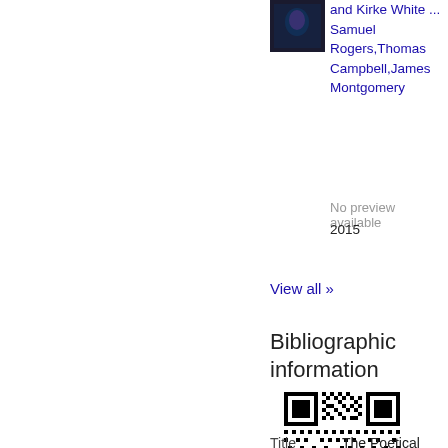[Figure (illustration): Small book thumbnail image with dark cover]
and Kirke White ...
Samuel Rogers,Thomas Campbell,James Montgomery
No preview available
2015
View all »
Bibliographic information
[Figure (other): QR code for bibliographic information]
Title
The Poetical